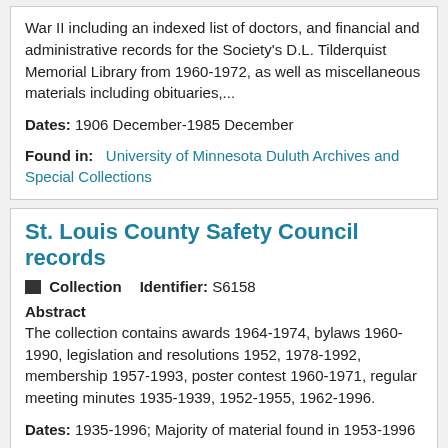War II including an indexed list of doctors, and financial and administrative records for the Society's D.L. Tilderquist Memorial Library from 1960-1972, as well as miscellaneous materials including obituaries,...
Dates: 1906 December-1985 December
Found in: University of Minnesota Duluth Archives and Special Collections
St. Louis County Safety Council records
Collection   Identifier: S6158
Abstract
The collection contains awards 1964-1974, bylaws 1960-1990, legislation and resolutions 1952, 1978-1992, membership 1957-1993, poster contest 1960-1971, regular meeting minutes 1935-1939, 1952-1955, 1962-1996.
Dates: 1935-1996; Majority of material found in 1953-1996
Found in: University of Minnesota Duluth Archives and Special Collections